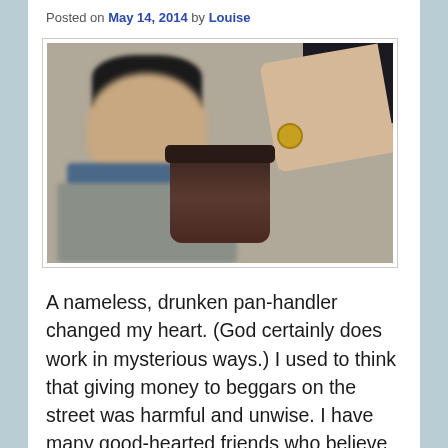Posted on May 14, 2014 by Louise
[Figure (photo): A hand dropping a coin into a metal cup held by an elderly bearded homeless man wearing a dark hat and blue scarf]
A nameless, drunken pan-handler changed my heart. (God certainly does work in mysterious ways.) I used to think that giving money to beggars on the street was harmful and unwise. I have many good-hearted friends who believe this, and in